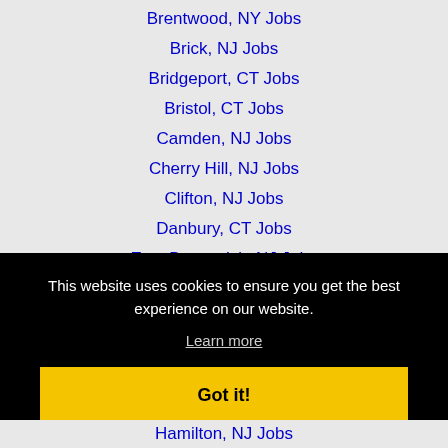Brentwood, NY Jobs
Brick, NJ Jobs
Bridgeport, CT Jobs
Bristol, CT Jobs
Camden, NJ Jobs
Cherry Hill, NJ Jobs
Clifton, NJ Jobs
Danbury, CT Jobs
East Brunswick, NJ Jobs
East Orange, NJ Jobs
This website uses cookies to ensure you get the best experience on our website.
Learn more
Got it!
Hamilton, NJ Jobs